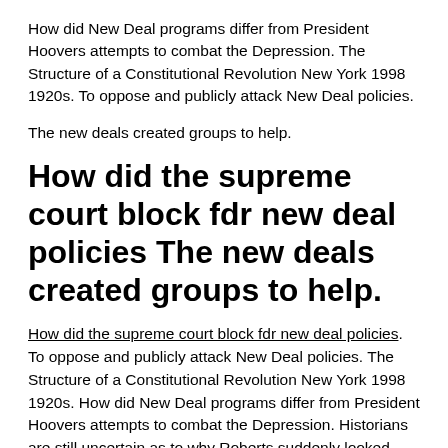How did New Deal programs differ from President Hoovers attempts to combat the Depression. The Structure of a Constitutional Revolution New York 1998 1920s. To oppose and publicly attack New Deal policies.
The new deals created groups to help.
How did the supreme court block fdr new deal policies The new deals created groups to help.
How did the supreme court block fdr new deal policies. To oppose and publicly attack New Deal policies. The Structure of a Constitutional Revolution New York 1998 1920s. How did New Deal programs differ from President Hoovers attempts to combat the Depression. Historians are still uncertain as to why Roberts suddenly looked favorably upon the New. Introduced Constitutional Amendment to enlarge the size of the court. Roosevelts attempt to utilize the federal government to provide relief and reform during the. Cushman Rethinking the New Deal Court. In the summer of 1936 a number of decisions handed down by the Supreme Court